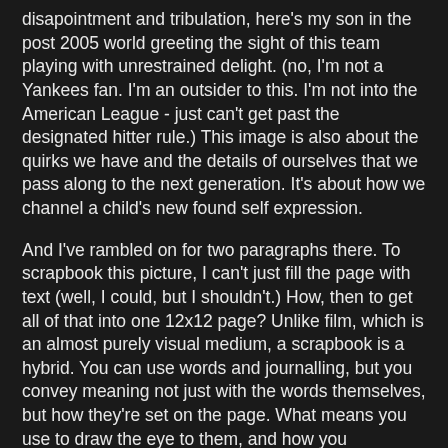disapointment and tribulation, here's my son in the post 2005 world greeting the sight of this team playing with unrestrained delight. (no, I'm not a Yankees fan. I'm an outsider to this. I'm not into the American League - just can't get past the designated hitter rule.) This image is also about the quirks we have and the details of ourselves that we pass along to the next generation. It's about how we channel a child's new found self expression.
And I've rambled on for two paragraphs there. To scrapbook this picture, I can't just fill the page with text (well, I could, but I shouldn't.) How, then to get all of that into one 12x12 page? Unlike film, which is an almost purely visual medium, a scrapbook is a hybrid. You can use words and journalling, but you convey meaning not just with the words themselves, but how they're set on the page. What means you use to draw the eye to them, and how you juxtapose them with the picture. What color and style you type them in, and whether you put them all in a block paragraph, or scatter them in phrases across the page.
What's this got to do with novel writing? Well, writing isn't